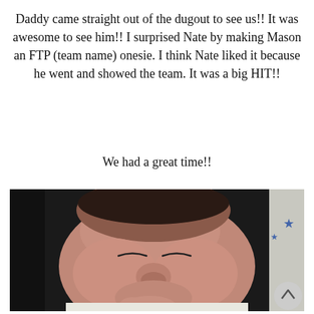Daddy came straight out of the dugout to see us!! It was awesome to see him!! I surprised Nate by making Mason an FTP (team name) onesie. I think Nate liked it because he went and showed the team. It was a big HIT!!
We had a great time!!
[Figure (photo): Close-up photo of a sleeping newborn baby's face, with eyes closed, in what appears to be a car seat with dark fabric. There is a blue star pattern visible on white fabric in the upper right corner.]